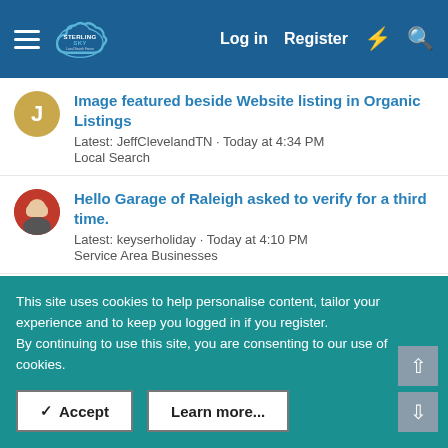Sterling Sky Local Search Forum — Log in Register
Image featured beside Website listing in Organic Listings
Latest: JeffClevelandTN · Today at 4:34 PM
Local Search
Hello Garage of Raleigh asked to verify for a third time.
Latest: keyserholiday · Today at 4:10 PM
Service Area Businesses
Social Media Sandbox
Latest: NexstarNickR · Today at 12:58 PM
Mobile & Social
» Trending: Most Replies
This site uses cookies to help personalise content, tailor your experience and to keep you logged in if you register.
By continuing to use this site, you are consenting to our use of cookies.